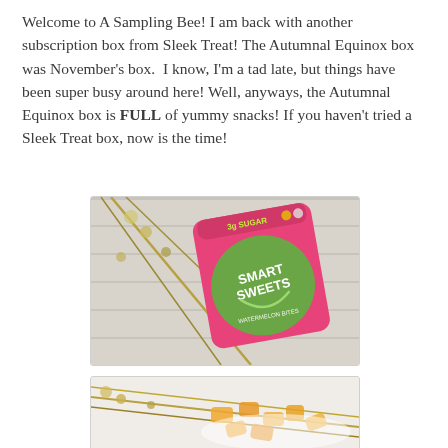Welcome to A Sampling Bee! I am back with another subscription box from Sleek Treat! The Autumnal Equinox box was November's box.  I know, I'm a tad late, but things have been super busy around here! Well, anyways, the Autumnal Equinox box is FULL of yummy snacks! If you haven't tried a Sleek Treat box, now is the time!
[Figure (photo): A pink bag of Smart Sweets candy lying on a white wooden surface with dried floral branches around it.]
[Figure (photo): Close-up of golden/orange translucent gummy candies on a white surface with dried floral branches.]